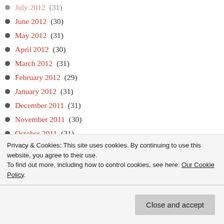July 2012 (31)
June 2012 (30)
May 2012 (31)
April 2012 (30)
March 2012 (31)
February 2012 (29)
January 2012 (31)
December 2011 (31)
November 2011 (30)
October 2011 (31)
September 2011 (30)
August 2011 (31)
Privacy & Cookies: This site uses cookies. By continuing to use this website, you agree to their use. To find out more, including how to control cookies, see here: Our Cookie Policy.
February 2011 (28)
January 2011 (31)